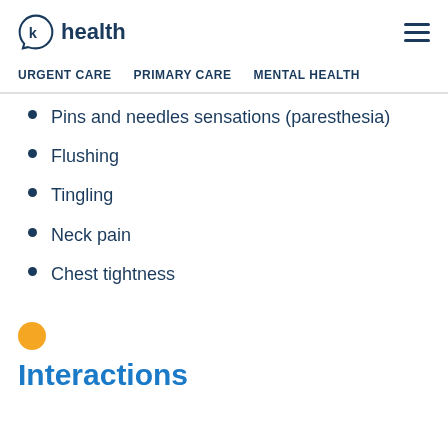k health
URGENT CARE   PRIMARY CARE   MENTAL HEALTH
Pins and needles sensations (paresthesia)
Flushing
Tingling
Neck pain
Chest tightness
Interactions